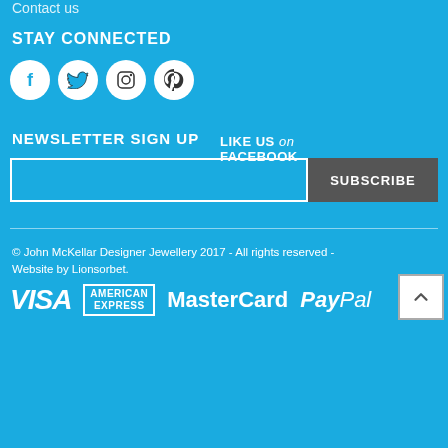Contact us
STAY CONNECTED
[Figure (illustration): Four social media icons in white circles: Facebook (f), Twitter (bird), Instagram (camera), Pinterest (p), plus text 'LIKE US on FACEBOOK']
NEWSLETTER SIGN UP
[Figure (screenshot): Email input field and SUBSCRIBE button]
© John McKellar Designer Jewellery 2017 - All rights reserved - Website by Lionsorbet.
[Figure (logo): Payment logos: VISA, AMERICAN EXPRESS, MasterCard, PayPal]